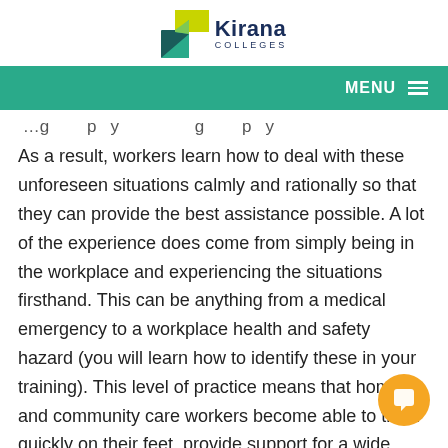[Figure (logo): Kirana Colleges logo with geometric K shape in green/yellow and dark blue text]
MENU
As a result, workers learn how to deal with these unforeseen situations calmly and rationally so that they can provide the best assistance possible. A lot of the experience does come from simply being in the workplace and experiencing the situations firsthand. This can be anything from a medical emergency to a workplace health and safety hazard (you will learn how to identify these in your training). This level of practice means that home and community care workers become able to think quickly on their feet, provide support for a wide range of needs and are always prepared to face the unexpected.